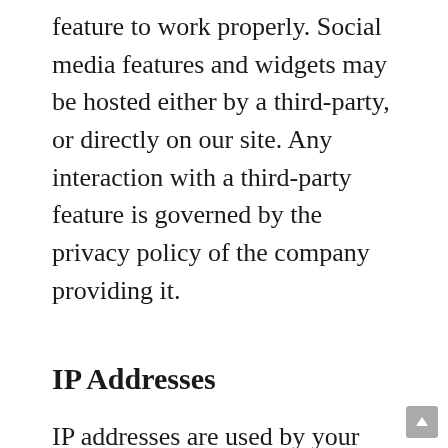feature to work properly. Social media features and widgets may be hosted either by a third-party, or directly on our site. Any interaction with a third-party feature is governed by the privacy policy of the company providing it.
IP Addresses
IP addresses are used by your computer every time you are connected to the Internet. Your IP address is a number that is used by computers on the network to